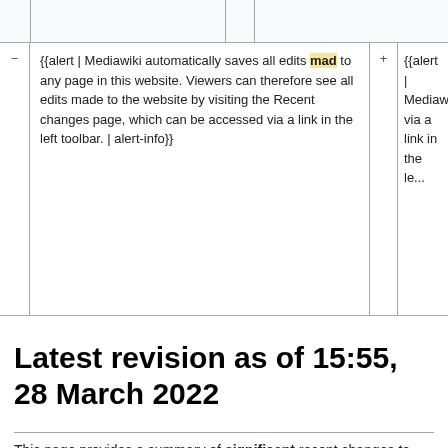| - | Content (old) | + | Content (new) |
| --- | --- | --- | --- |
| − | {{alert | Mediawiki automatically saves all edits mad to any page in this website. Viewers can therefore see all edits made to the website by visiting the Recent changes page, which can be accessed via a link in the left toolbar. | alert-info}} | + | {{alert | Mediawik... via a link in the le... |
Latest revision as of 15:55, 28 March 2022
This page provides a summary of significant recent changes to this website. We anticipate this page will be updated infrequently.
Information: For more detailed information about some of the updates described below, see Minnesota Stormwater Manual email Updates